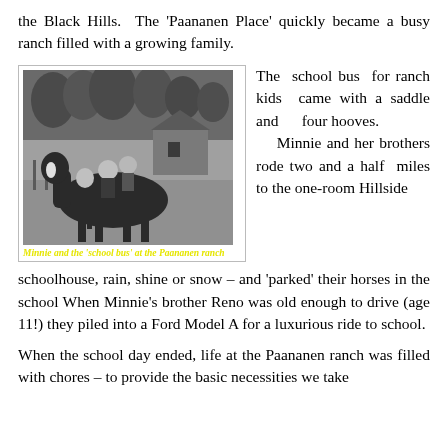the Black Hills. The 'Paananen Place' quickly became a busy ranch filled with a growing family.
[Figure (photo): Black and white photograph of children on a horse at the Paananen ranch, with farm buildings and trees in background. Caption in yellow italic bold text: Minnie and the 'school bus' at the Paananen ranch]
The school bus for ranch kids came with a saddle and four hooves. Minnie and her brothers rode two and a half miles to the one-room Hillside schoolhouse, rain, shine or snow – and 'parked' their horses in the school When Minnie's brother Reno was old enough to drive (age 11!) they piled into a Ford Model A for a luxurious ride to school.
When the school day ended, life at the Paananen ranch was filled with chores – to provide the basic necessities we take